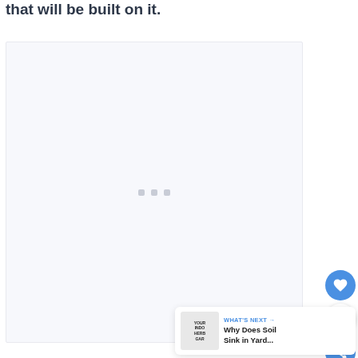that will be built on it.
[Figure (other): Large light gray placeholder content box with three small gray square loading dots centered in the middle]
[Figure (other): Blue circular like/heart button (FAB), count badge showing 1, and blue circular share button]
[Figure (other): What's Next widget showing a thumbnail with text YOUR INDOOR HERB GARDEN and article title Why Does Soil Sink in Yard...]